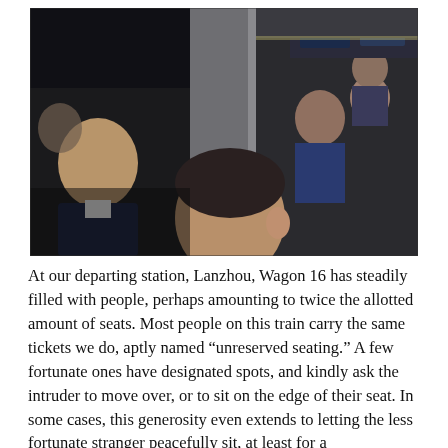[Figure (photo): Photograph of passengers on a crowded Chinese train. A man in a blue shirt is seen leaning forward in the foreground, with other passengers visible in the background. The scene is dimly lit inside a train wagon.]
At our departing station, Lanzhou, Wagon 16 has steadily filled with people, perhaps amounting to twice the allotted amount of seats. Most people on this train carry the same tickets we do, aptly named “unreserved seating.” A few fortunate ones have designated spots, and kindly ask the intruder to move over, or to sit on the edge of their seat. In some cases, this generosity even extends to letting the less fortunate stranger peacefully sit, at least for a